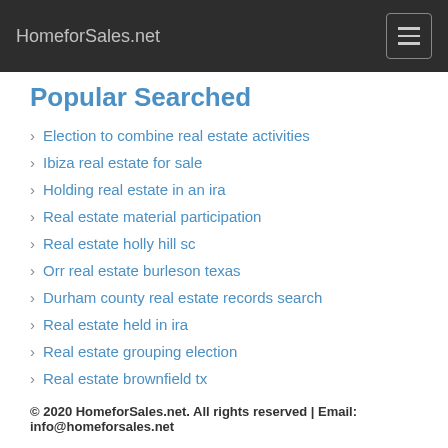HomeforSales.net
Popular Searched
Election to combine real estate activities
Ibiza real estate for sale
Holding real estate in an ira
Real estate material participation
Real estate holly hill sc
Orr real estate burleson texas
Durham county real estate records search
Real estate held in ira
Real estate grouping election
Real estate brownfield tx
© 2020 HomeforSales.net. All rights reserved | Email: info@homeforsales.net